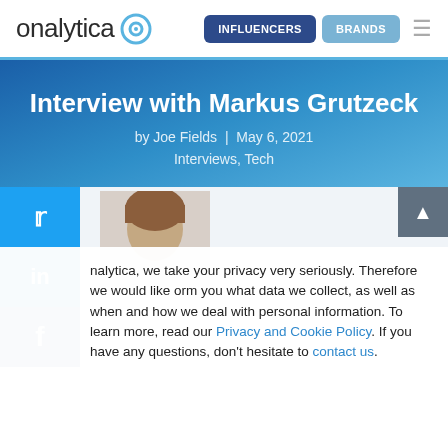[Figure (logo): Onalytica logo with circular icon and navigation buttons: INFLUENCERS (dark blue), BRANDS (light blue), and hamburger menu]
Interview with Markus Grutzeck
by Joe Fields | May 6, 2021
Interviews, Tech
[Figure (photo): Partial view of a person's head (profile photo of Markus Grutzeck)]
nalytica, we take your privacy very seriously. Therefore we would like orm you what data we collect, as well as when and how we deal with personal information. To learn more, read our Privacy and Cookie Policy. If you have any questions, don't hesitate to contact us.
Accept   Reject   Read More